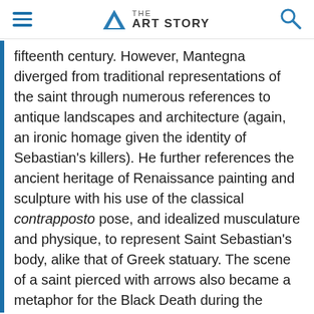THE ART STORY
fifteenth century. However, Mantegna diverged from traditional representations of the saint through numerous references to antique landscapes and architecture (again, an ironic homage given the identity of Sebastian's killers). He further references the ancient heritage of Renaissance painting and sculpture with his use of the classical contrapposto pose, and idealized musculature and physique, to represent Saint Sebastian's body, alike that of Greek statuary. The scene of a saint pierced with arrows also became a metaphor for the Black Death during the medieval era, for which reason Saint Sebastian became a patron saint of plague victims. The image of a ravaged body resonated with the Italian citizens of the fourteenth century, when the Black Death peaked in Europe, and Saint Sebastian remained an icon for centuries to come.